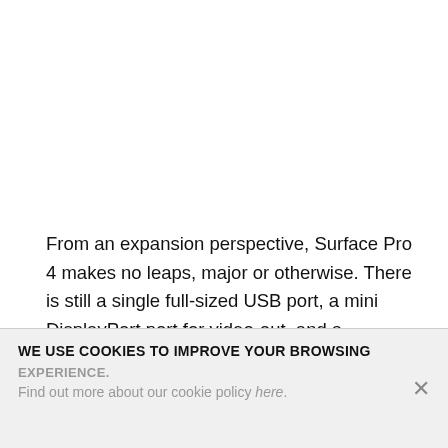From an expansion perspective, Surface Pro 4 makes no leaps, major or otherwise. There is still a single full-sized USB port, a mini DisplayPort port for video-out, and a microSD port for storage expansion. The headphone port is still awkwardly at the top of the device when used with the kickstand, leading to dangling wires.
WE USE COOKIES TO IMPROVE YOUR BROWSING EXPERIENCE.
Find out more about our cookie policy here.